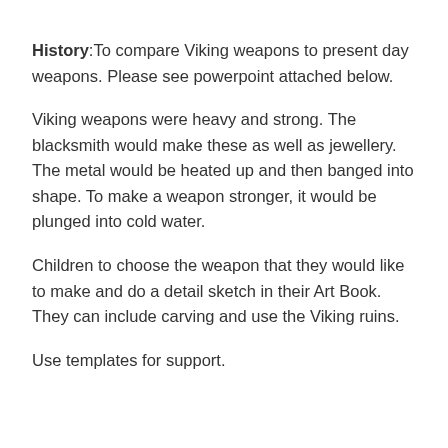History:To compare Viking weapons to present day weapons. Please see powerpoint attached below.
Viking weapons were heavy and strong. The blacksmith would make these as well as jewellery. The metal would be heated up and then banged into shape. To make a weapon stronger, it would be plunged into cold water.
Children to choose the weapon that they would like to make and do a detail sketch in their Art Book. They can include carving and use the Viking ruins.
Use templates for support.